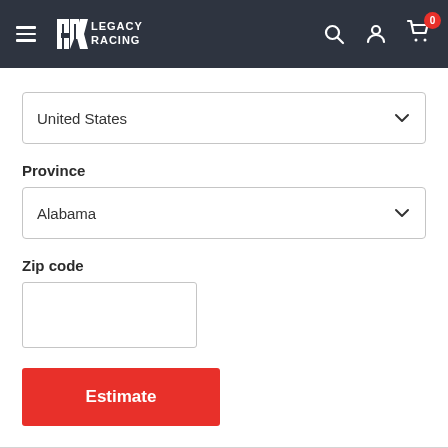LGC Legacy Racing — navigation header with hamburger menu, logo, search icon, account icon, cart icon with badge 0
United States
Province
Alabama
Zip code
Estimate